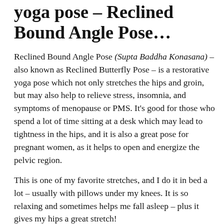yoga pose – Reclined Bound Angle Pose…
Reclined Bound Angle Pose (Supta Baddha Konasana) – also known as Reclined Butterfly Pose – is a restorative yoga pose which not only stretches the hips and groin, but may also help to relieve stress, insomnia, and symptoms of menopause or PMS. It's good for those who spend a lot of time sitting at a desk which may lead to tightness in the hips, and it is also a great pose for pregnant women, as it helps to open and energize the pelvic region.
This is one of my favorite stretches, and I do it in bed a lot – usually with pillows under my knees. It is so relaxing and sometimes helps me fall asleep – plus it gives my hips a great stretch!
You can rest your hands wherever you want – either on the floor at your sides, stretched out to the side, or